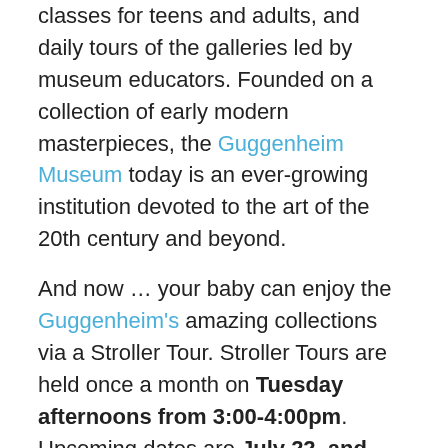classes for teens and adults, and daily tours of the galleries led by museum educators. Founded on a collection of early modern masterpieces, the Guggenheim Museum today is an ever-growing institution devoted to the art of the 20th century and beyond.
And now … your baby can enjoy the Guggenheim's amazing collections via a Stroller Tour. Stroller Tours are held once a month on Tuesday afternoons from 3:00-4:00pm. Upcoming dates are July 22, and August 26, September 23, 2014. The tour meets in the Rotunda of the museum.
“Stroll around the ramps with your baby in tow as museum educators lead an engaging one-hour tour for caregivers and their babies. Expect touchable objects and great adult conversation.”
Single strollers and front baby carriers only.